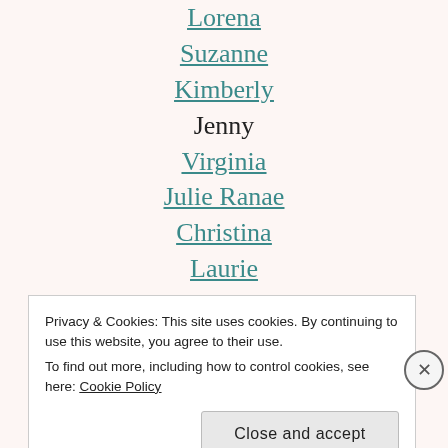Lorena
Suzanne
Kimberly
Jenny
Virginia
Julie Ranae
Christina
Laurie
Lisa
Deb
Gayatri (thats me!)
You next stop is Karen!
Privacy & Cookies: This site uses cookies. By continuing to use this website, you agree to their use.
To find out more, including how to control cookies, see here: Cookie Policy